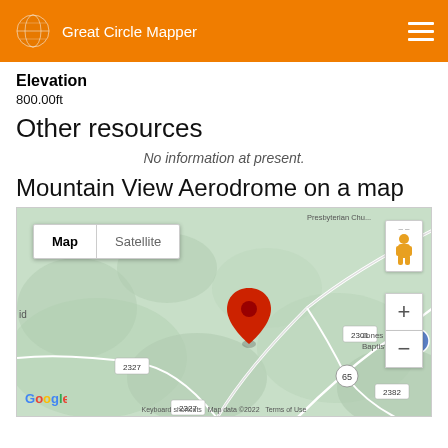Great Circle Mapper
Elevation
800.00ft
Other resources
No information at present.
Mountain View Aerodrome on a map
[Figure (map): Google Map showing Mountain View Aerodrome location with a red pin marker, road numbers 2301, 2327, 2382, 65, and Jones Chapel Baptist Church visible. Map and Satellite toggle buttons shown, with zoom controls and pegman street view icon.]